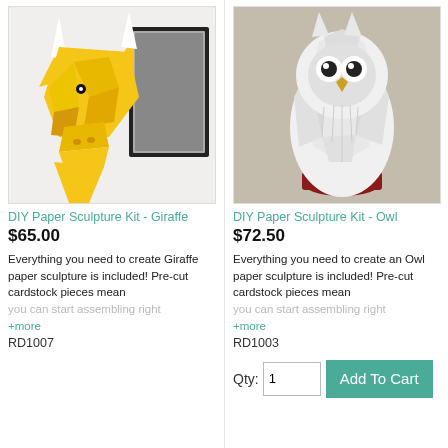[Figure (photo): Yellow geometric paper giraffe head sculpture mounted on a wall next to a framed artwork]
DIY Paper Sculpture Kit - Giraffe
$65.00
Everything you need to create Giraffe paper sculpture is included! Pre-cut cardstock pieces mean you can start assembling right
+more
RD1007
[Figure (photo): White geometric paper owl sculpture sitting on a dark red perch, mounted on a wall]
DIY Paper Sculpture Kit - Owl
$72.50
Everything you need to create an Owl paper sculpture is included! Pre-cut cardstock pieces mean you can start assembling right
+more
RD1003
Qty: 1
Add To Cart